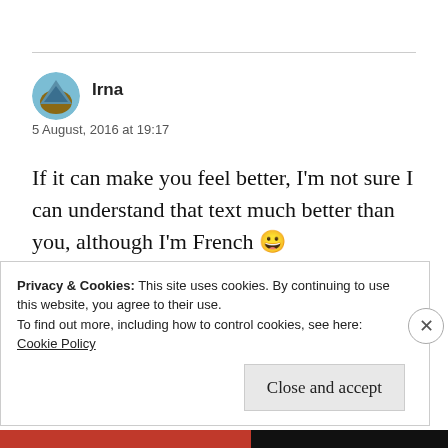[Figure (illustration): Circular avatar image of user Irna with blue and brown colors]
Irna
5 August, 2016 at 19:17
If it can make you feel better, I'm not sure I can understand that text much better than you, although I'm French 😀
★ Like
Privacy & Cookies: This site uses cookies. By continuing to use this website, you agree to their use.
To find out more, including how to control cookies, see here:
Cookie Policy
Close and accept